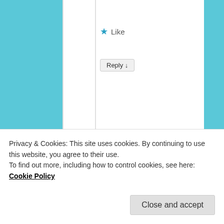Like
Reply ↓
peasoup1 on February 20, 2018 at 9:40 pm said:
My Gedmatch # is A875338....
Loading...
Privacy & Cookies: This site uses cookies. By continuing to use this website, you agree to their use.
To find out more, including how to control cookies, see here: Cookie Policy
Close and accept